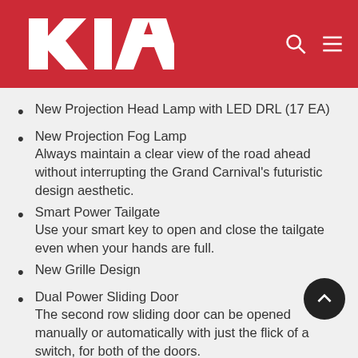[Figure (logo): Kia logo in white on red background header with search and menu icons]
New Projection Head Lamp with LED DRL (17 EA)
New Projection Fog Lamp
Always maintain a clear view of the road ahead without interrupting the Grand Carnival's futuristic design aesthetic.
Smart Power Tailgate
Use your smart key to open and close the tailgate even when your hands are full.
New Grille Design
Dual Power Sliding Door
The second row sliding door can be opened manually or automatically with just the flick of a switch, for both of the doors.
New LED Rear Combination Lamp